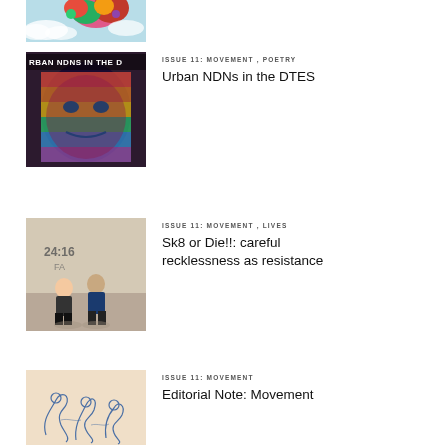[Figure (photo): Partial image at top: flowers against sky background, cropped]
[Figure (photo): Colorful psychedelic image with text 'URBAN NDNS IN THE D' overlay, person with rainbow hair effect]
ISSUE 11: MOVEMENT , POETRY
Urban NDNs in the DTES
[Figure (photo): Photo of two people sitting against a wall with graffiti '24:16 FA' at a skate park]
ISSUE 11: MOVEMENT , LIVES
Sk8 or Die!!: careful recklessness as resistance
[Figure (illustration): Line drawing illustration of abstract human figures in movement on a warm beige background]
ISSUE 11: MOVEMENT
Editorial Note: Movement